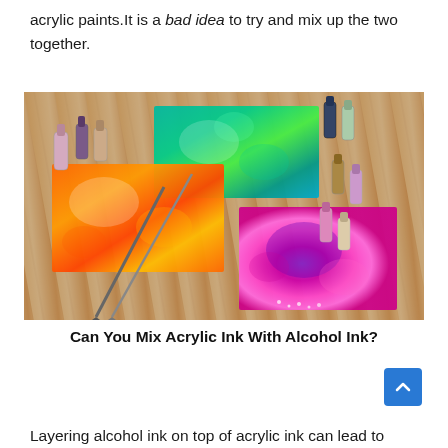acrylic paints.It is a bad idea to try and mix up the two together.
[Figure (photo): Photo of three colorful alcohol ink art pieces on a wooden surface — one teal/green, one orange/red, and one pink/purple — surrounded by ink bottles and paintbrushes.]
Can You Mix Acrylic Ink With Alcohol Ink?
Layering alcohol ink on top of acrylic ink can lead to